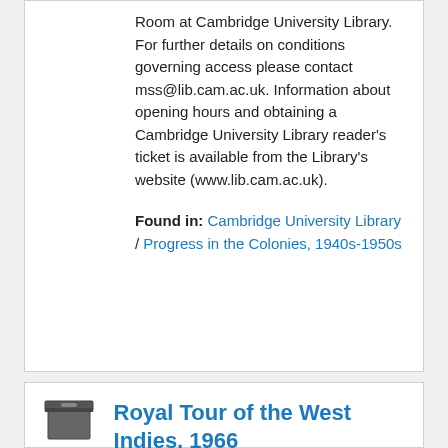Room at Cambridge University Library. For further details on conditions governing access please contact mss@lib.cam.ac.uk. Information about opening hours and obtaining a Cambridge University Library reader's ticket is available from the Library's website (www.lib.cam.ac.uk).
Found in: Cambridge University Library / Progress in the Colonies, 1940s-1950s
Royal Tour of the West Indies, 1966